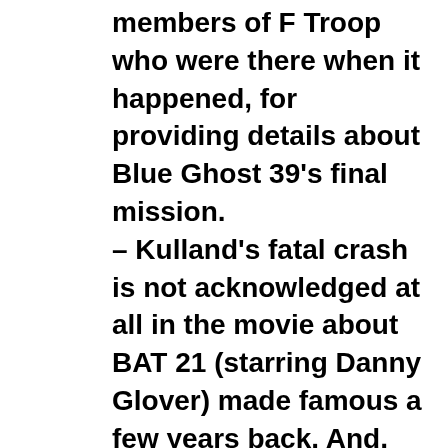members of F Troop who were there when it happened, for providing details about Blue Ghost 39's final mission. – Kulland's fatal crash is not acknowledged at all in the movie about BAT 21 (starring Danny Glover) made famous a few years back. And, sadly, it is only alluded to briefly in the book by the same name, added as a vague footnote buried somewhere in the appendix. It's a pity